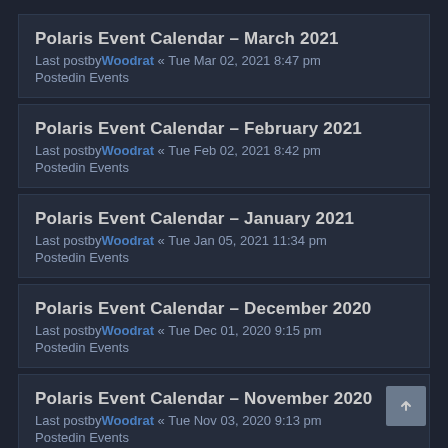Polaris Event Calendar – March 2021
Last postby Woodrat « Tue Mar 02, 2021 8:47 pm
Posted in Events
Polaris Event Calendar – February 2021
Last postby Woodrat « Tue Feb 02, 2021 8:42 pm
Posted in Events
Polaris Event Calendar – January 2021
Last postby Woodrat « Tue Jan 05, 2021 11:34 pm
Posted in Events
Polaris Event Calendar – December 2020
Last postby Woodrat « Tue Dec 01, 2020 9:15 pm
Posted in Events
Polaris Event Calendar – November 2020
Last postby Woodrat « Tue Nov 03, 2020 9:13 pm
Posted in Events